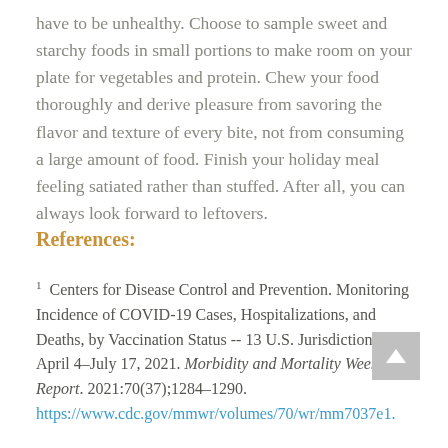have to be unhealthy. Choose to sample sweet and starchy foods in small portions to make room on your plate for vegetables and protein. Chew your food thoroughly and derive pleasure from savoring the flavor and texture of every bite, not from consuming a large amount of food. Finish your holiday meal feeling satiated rather than stuffed. After all, you can always look forward to leftovers.
References:
1 Centers for Disease Control and Prevention. Monitoring Incidence of COVID-19 Cases, Hospitalizations, and Deaths, by Vaccination Status -- 13 U.S. Jurisdictions, April 4–July 17, 2021. Morbidity and Mortality Weekly Report. 2021:70(37);1284–1290. https://www.cdc.gov/mmwr/volumes/70/wr/mm7037e1.